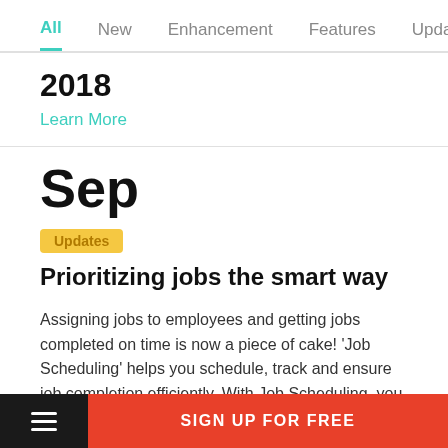All  New  Enhancement  Features  Updates
2018
Learn More
Sep
Prioritizing jobs the smart way
Assigning jobs to employees and getting jobs completed on time is now a piece of cake! 'Job Scheduling' helps you schedule, track and ensure job completion efficiently. With Job Scheduling, you can assign multiple jobs in a day and
SIGN UP FOR FREE